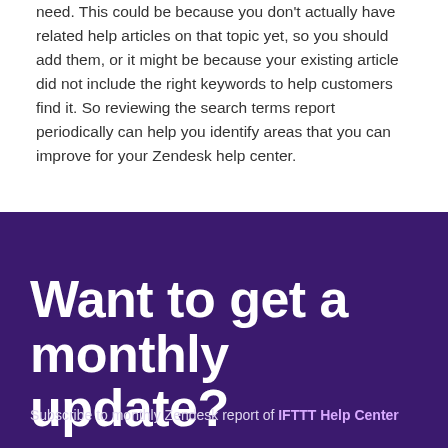need. This could be because you don't actually have related help articles on that topic yet, so you should add them, or it might be because your existing article did not include the right keywords to help customers find it. So reviewing the search terms report periodically can help you identify areas that you can improve for your Zendesk help center.
Want to get a monthly update?
Subscribe to monthly Zendesk report of IFTTT Help Center